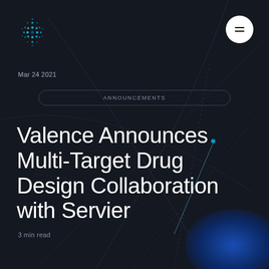[Figure (logo): Valence company logo — circular dot-pattern in cyan/blue on dark background]
Mar 24 2021
ANNOUNCEMENTS
Valence Announces Multi-Target Drug Design Collaboration with Servier
3 min read